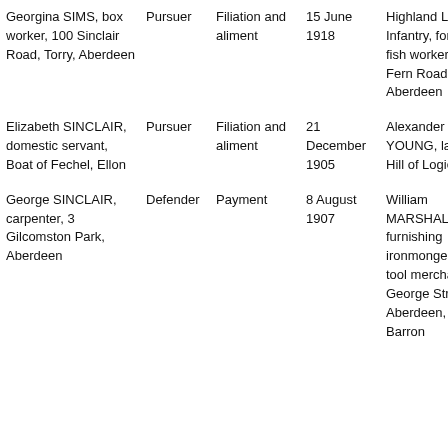| Georgina SIMS, box worker, 100 Sinclair Road, Torry, Aberdeen | Pursuer | Filiation and aliment | 15 June 1918 | Highland Light Infantry, formerly fish worker, 21 Fern Road, Torry, Aberdeen |
| Elizabeth SINCLAIR, domestic servant, Boat of Fechel, Ellon | Pursuer | Filiation and aliment | 21 December 1905 | Alexander YOUNG, labourer, Hill of Logie, Ellon |
| George SINCLAIR, carpenter, 3 Gilcomston Park, Aberdeen | Defender | Payment | 8 August 1907 | William MARSHALL, furnishing ironmonger and tool merchant, 16 George Street, Aberdeen, Robert Barron |